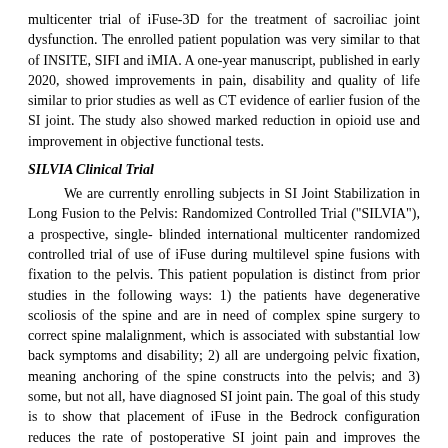multicenter trial of iFuse-3D for the treatment of sacroiliac joint dysfunction. The enrolled patient population was very similar to that of INSITE, SIFI and iMIA. A one-year manuscript, published in early 2020, showed improvements in pain, disability and quality of life similar to prior studies as well as CT evidence of earlier fusion of the SI joint. The study also showed marked reduction in opioid use and improvement in objective functional tests.
SILVIA Clinical Trial
We are currently enrolling subjects in SI Joint Stabilization in Long Fusion to the Pelvis: Randomized Controlled Trial ("SILVIA"), a prospective, single-blinded international multicenter randomized controlled trial of use of iFuse during multilevel spine fusions with fixation to the pelvis. This patient population is distinct from prior studies in the following ways: 1) the patients have degenerative scoliosis of the spine and are in need of complex spine surgery to correct spine malalignment, which is associated with substantial low back symptoms and disability; 2) all are undergoing pelvic fixation, meaning anchoring of the spine constructs into the pelvis; and 3) some, but not all, have diagnosed SI joint pain. The goal of this study is to show that placement of iFuse in the Bedrock configuration reduces the rate of postoperative SI joint pain and improves the longevity of pelvic fixation hardware, failures of which are fairly common.
Other Published Clinical Studies